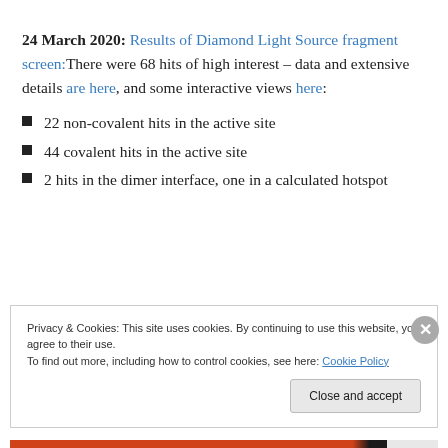24 March 2020: Results of Diamond Light Source fragment screen: There were 68 hits of high interest – data and extensive details are here, and some interactive views here:
22 non-covalent hits in the active site
44 covalent hits in the active site
2 hits in the dimer interface, one in a calculated hotspot
Privacy & Cookies: This site uses cookies. By continuing to use this website, you agree to their use. To find out more, including how to control cookies, see here: Cookie Policy